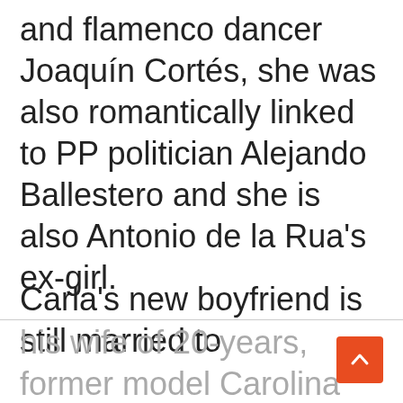and flamenco dancer Joaquín Cortés, she was also romantically linked to PP politician Alejando Ballestero and she is also Antonio de la Rua's ex-girl.
Carla's new boyfriend is still married to his wife of 20-years, former model Carolina Baldini/Carolina Simeone with whom he fathered the couple's three